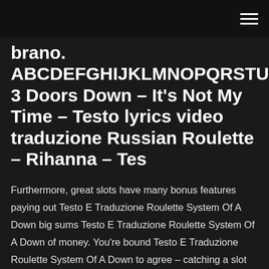brano. ABCDEFGHIJKLMNOPQRSTUVWXYZ 3 Doors Down – It's Not My Time – Testo lyrics video traduzione Russian Roulette – Rihanna – Tes
Furthermore, great slots have many bonus features paying out Testo E Traduzione Roulette System Of A Down big sums Testo E Traduzione Roulette System Of A Down of money. You're bound Testo E Traduzione Roulette System Of A Down to agree – catching a slot after an hour and getting nothing from it is just disappointing. Testo E Traduzione Roulette System Of A Down enjoy the same level of